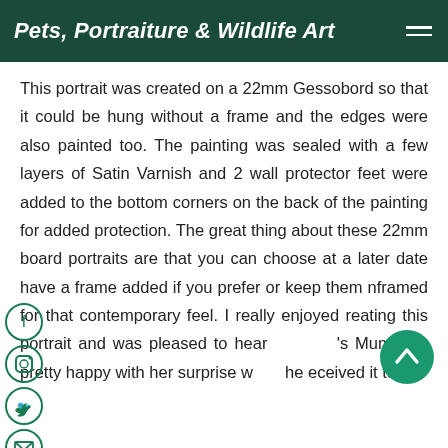Pets, Portraiture & Wildlife Art
This portrait was created on a 22mm Gessobord so that it could be hung without a frame and the edges were also painted too. The painting was sealed with a few layers of Satin Varnish and 2 wall protector feet were added to the bottom corners on the back of the painting for added protection. The great thing about these 22mm board portraits are that you can choose at a later date have a frame added if you prefer or keep them nframed for that contemporary feel. I really enjoyed reating this portrait and was pleased to hear 's Mum was pretty happy with her surprise w he eceived it too!